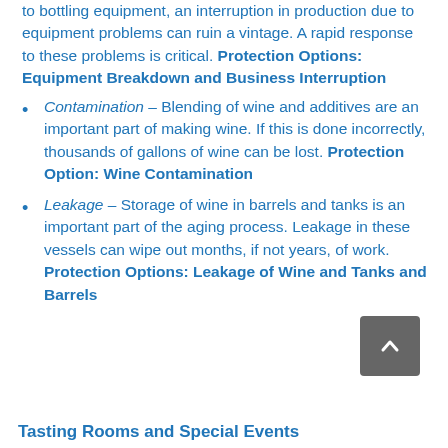Production Equipment Breakdown – From tanks to bottling equipment, an interruption in production due to equipment problems can ruin a vintage. A rapid response to these problems is critical. Protection Options: Equipment Breakdown and Business Interruption
Contamination – Blending of wine and additives are an important part of making wine. If this is done incorrectly, thousands of gallons of wine can be lost. Protection Option: Wine Contamination
Leakage – Storage of wine in barrels and tanks is an important part of the aging process. Leakage in these vessels can wipe out months, if not years, of work. Protection Options: Leakage of Wine and Tanks and Barrels
Tasting Rooms and Special Events